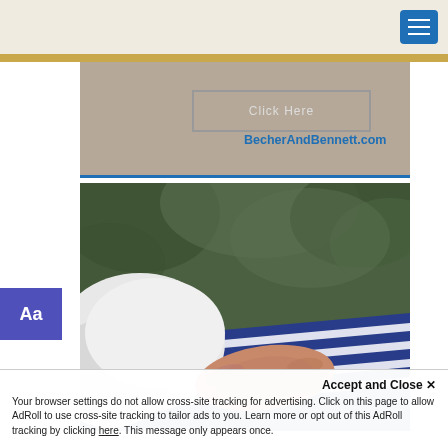[Figure (screenshot): Top navigation bar with beige background and blue hamburger menu icon in top right corner]
[Figure (screenshot): Advertisement banner with beige/tan background showing a 'Click Here' button and BecherAndBennett.com URL text in blue]
BecherAndBennett.com
[Figure (screenshot): Aa font-size toggle button in purple/blue on left side]
[Figure (photo): A hand resting on a folded American flag, with green foliage in the background — a funeral/memorial scene]
Accept and Close ✕
Your browser settings do not allow cross-site tracking for advertising. Click on this page to allow AdRoll to use cross-site tracking to tailor ads to you. Learn more or opt out of this AdRoll tracking by clicking here. This message only appears once.